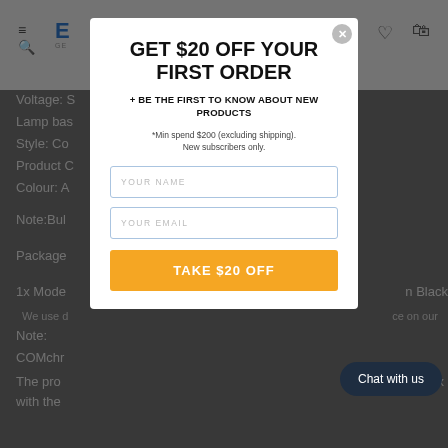E [logo] GE
Voltage: S
Lamp bas
Style: Co
Product C
Colour: A
Note:Bul
Package
1x Mode... Black
We use ... on our
Note:
COMchr...
The pro... box with the...
GET $20 OFF YOUR FIRST ORDER
+ BE THE FIRST TO KNOW ABOUT NEW PRODUCTS
*Min spend $200 (excluding shipping). New subscribers only.
YOUR NAME
YOUR EMAIL
TAKE $20 OFF
Chat with us